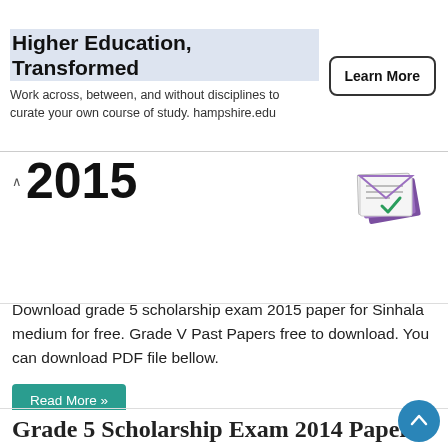[Figure (infographic): Advertisement banner for Hampshire College: 'Higher Education, Transformed' with a 'Learn More' button]
2015
[Figure (illustration): Illustration of stacked papers/documents with green and purple colors]
Download grade 5 scholarship exam 2015 paper for Sinhala medium for free. Grade V Past Papers free to download. You can download PDF file bellow.
Read More »
Grade 5 Scholarship Exam 2014 Paper
July 4, 2018   Grade 5 Scholarship Exam   0
[Figure (screenshot): Black thumbnail image area for a video or document preview]